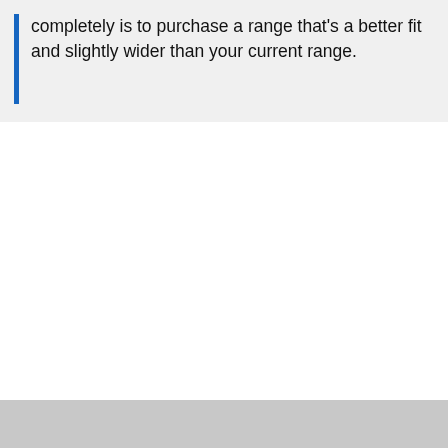completely is to purchase a range that's a better fit and slightly wider than your current range.